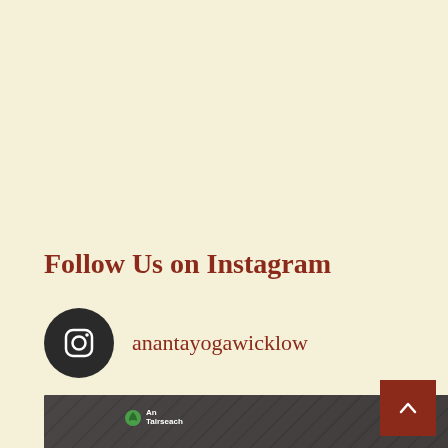Follow Us on Instagram
anantayogawicklow
[Figure (screenshot): Instagram post preview showing 'An Tairseach' and 'Ananta Yoga & Wellness' logos with text: SATURDAY SEPTEMBER 10TH 2022, AYURVEDIC COOKING & NUTRITION WITH DR. RAJVINDER KAUR]